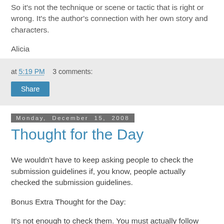So it's not the technique or scene or tactic that is right or wrong. It's the author's connection with her own story and characters.
Alicia
at 5:19 PM   3 comments:
Share
Monday, December 15, 2008
Thought for the Day
We wouldn't have to keep asking people to check the submission guidelines if, you know, people actually checked the submission guidelines.
Bonus Extra Thought for the Day:
It's not enough to check them. You must actually follow them. Please don't send query letters explaining that you know the